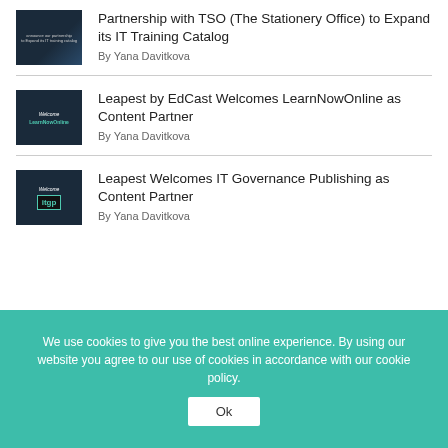[Figure (photo): Thumbnail image for TSO partnership article — dark blue background with small text about partnership]
Partnership with TSO (The Stationery Office) to Expand its IT Training Catalog
By Yana Davitkova
[Figure (photo): Thumbnail image for LearnNowOnline article — dark background with 'Welcome' text and LearnNowOnline logo]
Leapest by EdCast Welcomes LearnNowOnline as Content Partner
By Yana Davitkova
[Figure (photo): Thumbnail image for IT Governance article — dark background with 'Welcome' text and IT GP logo]
Leapest Welcomes IT Governance Publishing as Content Partner
By Yana Davitkova
We use cookies to give you the best online experience. By using our website you agree to our use of cookies in accordance with our cookie policy.